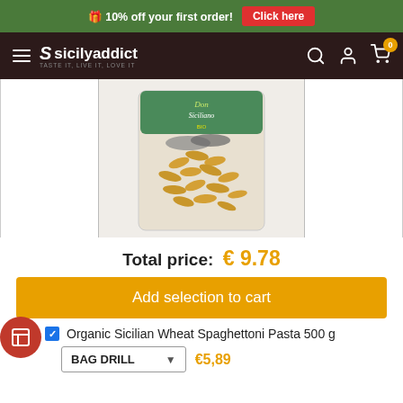🎁 10% off your first order! Click here
sicilyaddict — TASTE IT, LIVE IT, LOVE IT
[Figure (photo): Bag of organic Sicilian wheat pasta (casarecce/fusilli shape) with green label, transparent packaging showing golden pasta pieces]
Total price: € 9.78
Add selection to cart
Organic Sicilian Wheat Spaghettoni Pasta 500 g
BAG DRILL  €5,89